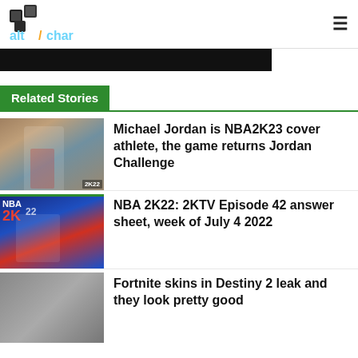altchar
[Figure (screenshot): Hero image strip showing a dark game scene at the top of the page]
Related Stories
[Figure (photo): Michael Jordan in Chicago Bulls jersey number 23, NBA2K23 game cover art]
Michael Jordan is NBA2K23 cover athlete, the game returns Jordan Challenge
[Figure (photo): NBA 2K22 cover art featuring Luka Doncic]
NBA 2K22: 2KTV Episode 42 answer sheet, week of July 4 2022
[Figure (photo): Fortnite skins in Destiny 2 article thumbnail]
Fortnite skins in Destiny 2 leak and they look pretty good